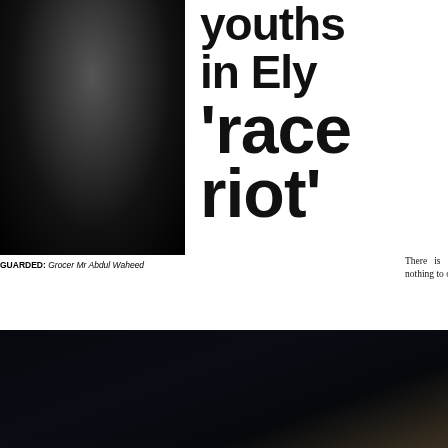[Figure (photo): Black and white photograph of a person, partially visible, dark background]
GUARDED: Grocer Mr Abdul Waheed
youths in Ely 'race riot'
There is general agreement that race had nothing to do with the trouble and those
[Figure (photo): Very dark, nearly black photograph, possibly an outdoor or crowd scene, largely obscured by darkness with slight brown toning at corner]